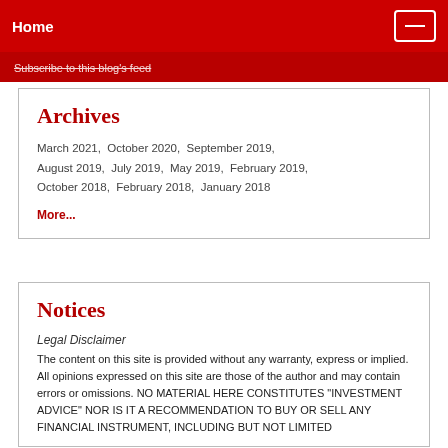Home
Subscribe to this blog's feed
Archives
March 2021,  October 2020,  September 2019,  August 2019,  July 2019,  May 2019,  February 2019,  October 2018,  February 2018,  January 2018
More...
Notices
Legal Disclaimer
The content on this site is provided without any warranty, express or implied. All opinions expressed on this site are those of the author and may contain errors or omissions. NO MATERIAL HERE CONSTITUTES "INVESTMENT ADVICE" NOR IS IT A RECOMMENDATION TO BUY OR SELL ANY FINANCIAL INSTRUMENT, INCLUDING BUT NOT LIMITED